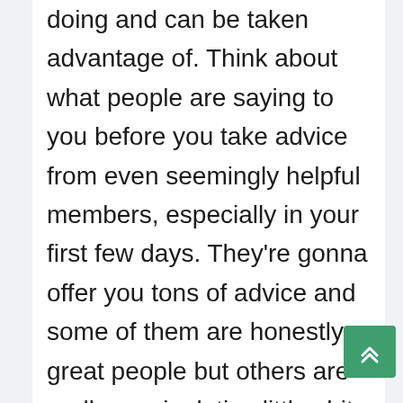doing and can be taken advantage of. Think about what people are saying to you before you take advice from even seemingly helpful members, especially in your first few days. They're gonna offer you tons of advice and some of them are honestly great people but others are really manipulative little shits so USE YOUR OWN INTUITION AND OTHER CAMGIRLS AS YOUR SOURCE OF INFORMATION and take what members tell you with a grain of salt.